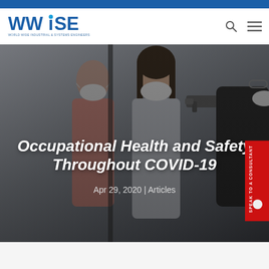[Figure (logo): WWiSE - World Wide Industrial & Systems Engineers logo in blue]
[Figure (photo): Photo of people wearing face masks, one person pointing a thermometer gun at another person's forehead, COVID-19 safety screening scene]
Occupational Health and Safety Throughout COVID-19
Apr 29, 2020 | Articles